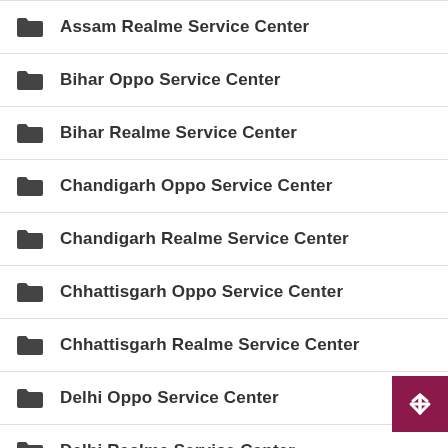Assam Realme Service Center
Bihar Oppo Service Center
Bihar Realme Service Center
Chandigarh Oppo Service Center
Chandigarh Realme Service Center
Chhattisgarh Oppo Service Center
Chhattisgarh Realme Service Center
Delhi Oppo Service Center
Delhi Realme Service Center
General
Goa Oppo Service Center
Gujarat Oppo Service Center
Gujarat Realme Service Center